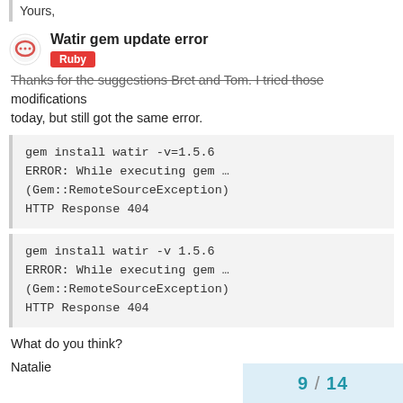Yours,
Watir gem update error
Ruby
Thanks for the suggestions Bret and Tom. I tried those modifications today, but still got the same error.
gem install watir -v=1.5.6
ERROR: While executing gem …
(Gem::RemoteSourceException)
HTTP Response 404
gem install watir -v 1.5.6
ERROR: While executing gem …
(Gem::RemoteSourceException)
HTTP Response 404
What do you think?
Natalie
9 / 14